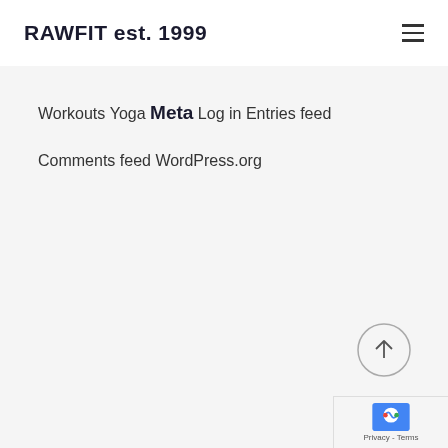RAWFIT est. 1999
Workouts
Yoga
Meta
Log in
Entries feed
Comments feed
WordPress.org
[Figure (other): Scroll-to-top button: circle with upward arrow]
[Figure (logo): reCAPTCHA badge with logo and Privacy - Terms text]